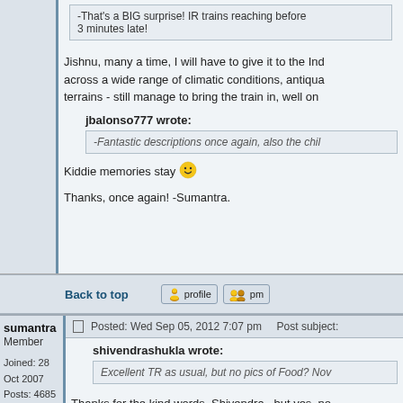-That's a BIG surprise! IR trains reaching before 3 minutes late!
Jishnu, many a time, I will have to give it to the Ind across a wide range of climatic conditions, antiqua terrains - still manage to bring the train in, well on
jbalonso777 wrote:
-Fantastic descriptions once again, also the chil
Kiddie memories stay 🙂
Thanks, once again! -Sumantra.
Back to top
sumantra
Member

Joined: 28 Oct 2007
Posts: 4685
Location: New Delhi
Posted: Wed Sep 05, 2012 7:07 pm    Post subject:
shivendrashukla wrote:
Excellent TR as usual, but no pics of Food? Nov
Thanks for the kind words, Shivendra...but yes, no imagine how disappointed I was with the food 😞